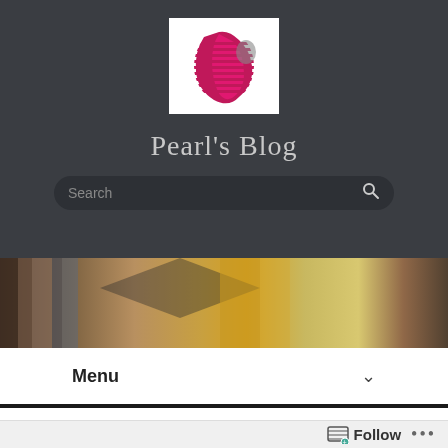[Figure (logo): Pearl's Blog logo — stylized face profile in magenta/pink with horizontal lines on a white background]
Pearl's Blog
[Figure (other): Search bar with placeholder text 'Search' and a magnifying glass icon on a dark rounded background]
[Figure (photo): Blurred background photo showing graduation cap and books in warm tones]
Menu
HOME › MY PHD EXPERIENCE › MY PHD JOURNEY: LESSONS LEARNT SO FAR
Follow